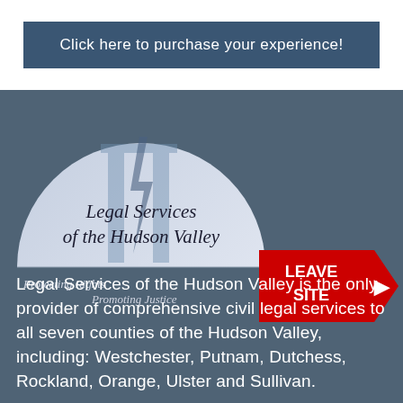Click here to purchase your experience!
[Figure (logo): Legal Services of the Hudson Valley logo — semicircle with scales of justice imagery, text: 'Legal Services of the Hudson Valley', taglines: 'Protecting Rights' and 'Promoting Justice']
[Figure (infographic): Red arrow badge with text 'LEAVE SITE' and right-pointing arrow]
Legal Services of the Hudson Valley is the only provider of comprehensive civil legal services to all seven counties of the Hudson Valley, including: Westchester, Putnam, Dutchess, Rockland, Orange, Ulster and Sullivan.